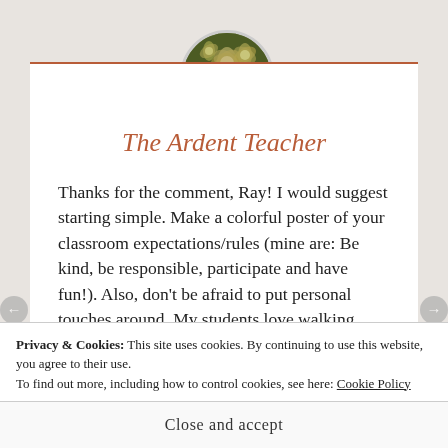[Figure (photo): Circular profile photo of flowers/plant used as avatar for The Ardent Teacher blog]
The Ardent Teacher
Thanks for the comment, Ray! I would suggest starting simple. Make a colorful poster of your classroom expectations/rules (mine are: Be kind, be responsible, participate and have fun!). Also, don't be afraid to put personal touches around. My students love walking around my room and noticing
Privacy & Cookies: This site uses cookies. By continuing to use this website, you agree to their use.
To find out more, including how to control cookies, see here: Cookie Policy
Close and accept